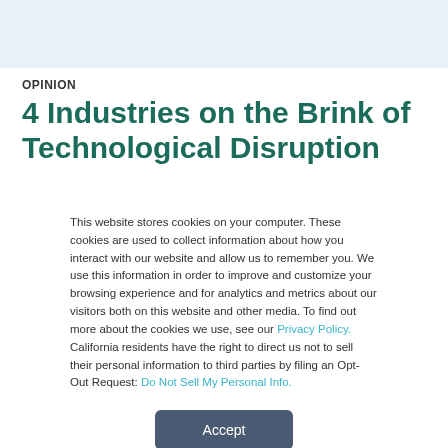OPINION
4 Industries on the Brink of Technological Disruption
This website stores cookies on your computer. These cookies are used to collect information about how you interact with our website and allow us to remember you. We use this information in order to improve and customize your browsing experience and for analytics and metrics about our visitors both on this website and other media. To find out more about the cookies we use, see our Privacy Policy. California residents have the right to direct us not to sell their personal information to third parties by filing an Opt-Out Request: Do Not Sell My Personal Info.
Accept